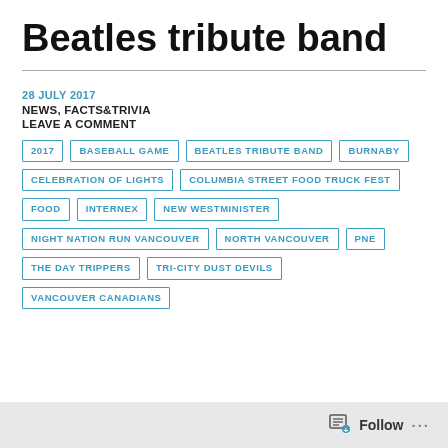Beatles tribute band
28 JULY 2017
NEWS, FACTS&TRIVIA
LEAVE A COMMENT
2017
BASEBALL GAME
BEATLES TRIBUTE BAND
BURNABY
CELEBRATION OF LIGHTS
COLUMBIA STREET FOOD TRUCK FEST
FOOD
INTERNEX
NEW WESTMINISTER
NIGHT NATION RUN VANCOUVER
NORTH VANCOUVER
PNE
THE DAY TRIPPERS
TRI-CITY DUST DEVILS
VANCOUVER CANADIANS
Follow ...